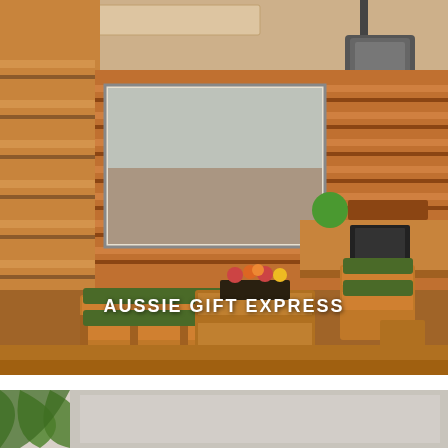[Figure (photo): Interior room with wooden pallet walls, pallet furniture with olive green cushions, a projector screen on the wall showing an image, a ceiling-mounted projector, flower centerpiece on a pallet coffee table, and a green logo on the back wall.]
AUSSIE GIFT EXPRESS
[Figure (photo): Partial view of the bottom of another photo, showing green foliage against a light background.]